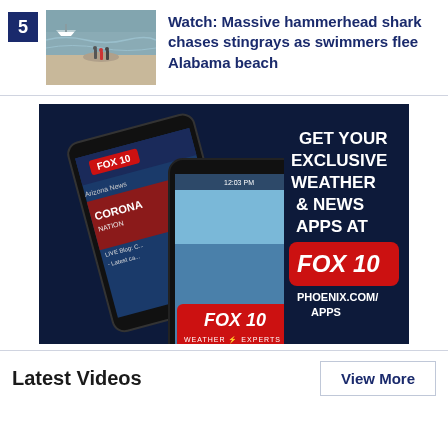5 Watch: Massive hammerhead shark chases stingrays as swimmers flee Alabama beach
[Figure (photo): FOX 10 advertisement banner showing smartphones with the FOX 10 Weather app and text: GET YOUR EXCLUSIVE WEATHER & NEWS APPS AT FOX 10 PHOENIX.COM/APPS]
Latest Videos
View More